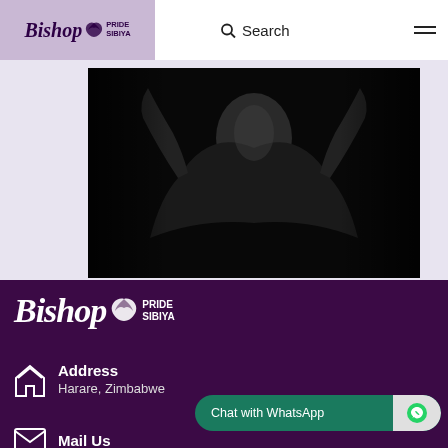Bishop Pride Sibiya – Search – Menu
[Figure (photo): Black and white dramatic portrait photo, dark moody lighting showing a figure with arms raised]
[Figure (logo): Bishop Pride Sibiya logo in white on dark purple background]
Address
Harare, Zimbabwe
Chat with WhatsApp
Mail Us